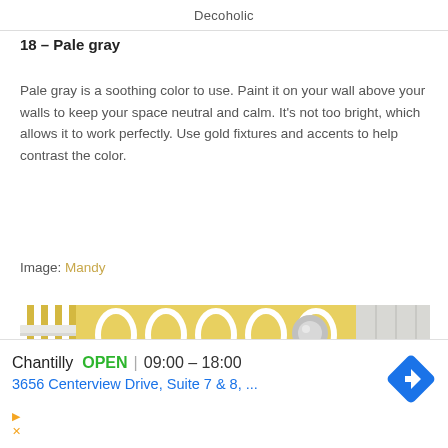Decoholic
18 – Pale gray
Pale gray is a soothing color to use. Paint it on your wall above your walls to keep your space neutral and calm. It's not too bright, which allows it to work perfectly. Use gold fixtures and accents to help contrast the color.
Image: Mandy
[Figure (photo): Bathroom wall with yellow and white geometric patterned wallpaper, white shelf, and toilet paper holder with chrome fixture]
Chantilly  OPEN  |  09:00 – 18:00
3656 Centerview Drive, Suite 7 & 8, ...